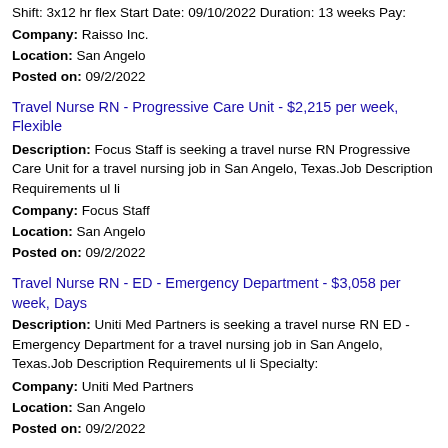Shift: 3x12 hr flex Start Date: 09/10/2022 Duration: 13 weeks Pay:
Company: Raisso Inc.
Location: San Angelo
Posted on: 09/2/2022
Travel Nurse RN - Progressive Care Unit - $2,215 per week, Flexible
Description: Focus Staff is seeking a travel nurse RN Progressive Care Unit for a travel nursing job in San Angelo, Texas.Job Description Requirements ul li
Company: Focus Staff
Location: San Angelo
Posted on: 09/2/2022
Travel Nurse RN - ED - Emergency Department - $3,058 per week, Days
Description: Uniti Med Partners is seeking a travel nurse RN ED - Emergency Department for a travel nursing job in San Angelo, Texas.Job Description Requirements ul li Specialty:
Company: Uniti Med Partners
Location: San Angelo
Posted on: 09/2/2022
Travel Nurse RN - Progressive Care Unit - $3,188 per week,